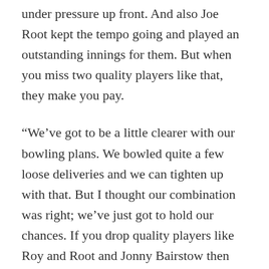under pressure up front. And also Joe Root kept the tempo going and played an outstanding innings for them. But when you miss two quality players like that, they make you pay.
“We’ve got to be a little clearer with our bowling plans. We bowled quite a few loose deliveries and we can tighten up with that. But I thought our combination was right; we’ve just got to hold our chances. If you drop quality players like Roy and Root and Jonny Bairstow then they make you pay.
“We’ve got to be a bit better in the field. I felt the energy and body language could have been a lot better. That would give the bowlers some momentum to work with.”
Holder also dismissed any criticism of Chris Gayle, who